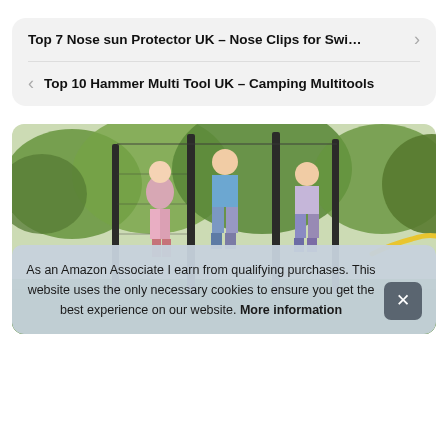Top 7 Nose sun Protector UK – Nose Clips for Swi…  >
<  Top 10 Hammer Multi Tool UK – Camping Multitools
[Figure (photo): Children jumping on a trampoline outdoors in a garden with trees in background]
As an Amazon Associate I earn from qualifying purchases. This website uses the only necessary cookies to ensure you get the best experience on our website. More information